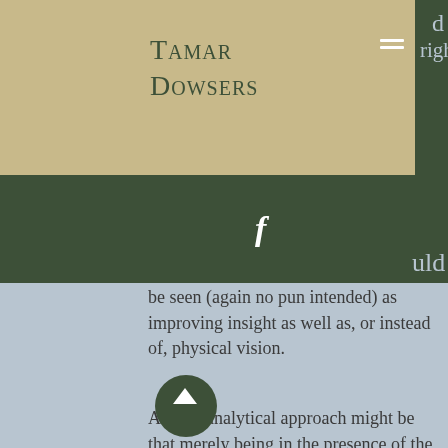Tamar Dowsers
uld be seen (again no pun intended) as improving insight as well as, or instead of, physical vision.
A more analytical approach might be that merely being in the presence of the energies at the holy well for a short period would be beneficial in itself.  Some will argue that this is due to the electrical, piezo-electrical, emanations from the